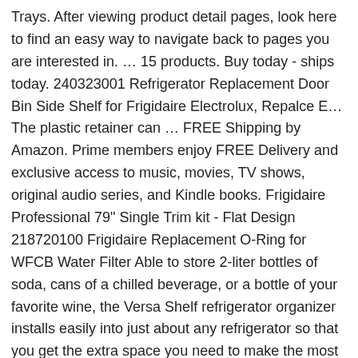Trays. After viewing product detail pages, look here to find an easy way to navigate back to pages you are interested in. … 15 products. Buy today - ships today. 240323001 Refrigerator Replacement Door Bin Side Shelf for Frigidaire Electrolux, Repalce E… The plastic retainer can … FREE Shipping by Amazon. Prime members enjoy FREE Delivery and exclusive access to music, movies, TV shows, original audio series, and Kindle books. Frigidaire Professional 79" Single Trim kit - Flat Design 218720100 Frigidaire Replacement O-Ring for WFCB Water Filter Able to store 2-liter bottles of soda, cans of a chilled beverage, or a bottle of your favorite wine, the Versa Shelf refrigerator organizer installs easily into just about any refrigerator so that you get the extra space you need to make the most of your shelving. Refrigerator Door Bin (13) Part Number: 240323001 . This white door bin can be moved according to space needed in the refrigerator. Lifetime Appliance 240323002 Door Bin Shelf Compatible with Frigidaire or Electrolux Refrige… Product Type: Bins. Note: This video is intended to … Refrigerator Parts - Shop online or call 888-343-4948. Top Mount Refrigerator Adjusting Shelves Explore these